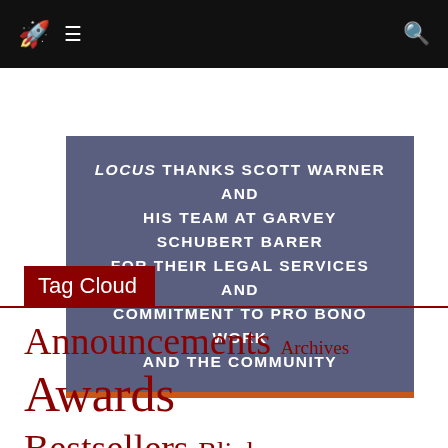Navigation bar with rocket logo, hamburger menu, and search icon
[Figure (other): Sponsor acknowledgment box: LOCUS THANKS SCOTT WARNER AND HIS TEAM AT GARVEY SCHUBERT BARER FOR THEIR LEGAL SERVICES AND COMMITMENT TO PRO BONO WORK AND THE COMMUNITY]
Tag Cloud
Announcements Archives Awards Bestsellers Blinks Blurb Books Bookstores Classic Reprints Commentary Contests Conventions Cory Doctorow Features Films Forthcoming Books Interviews